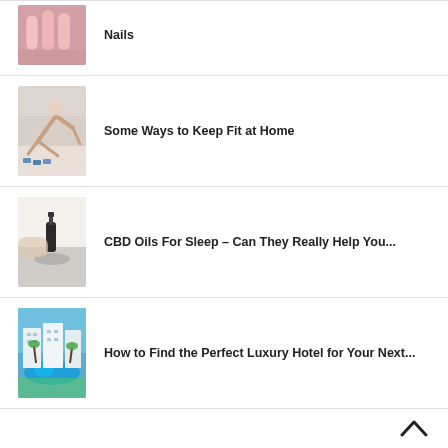Nails
Some Ways to Keep Fit at Home
CBD Oils For Sleep – Can They Really Help You...
How to Find the Perfect Luxury Hotel for Your Next...
TAGS
ALKARAM STUDIO (35)